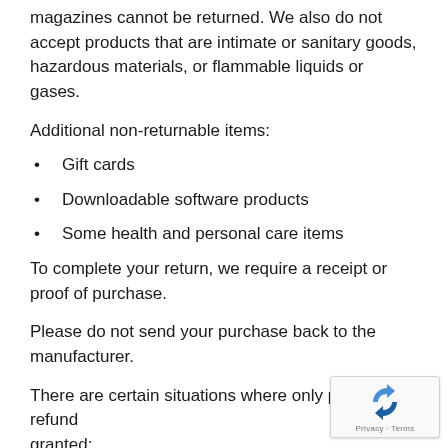magazines cannot be returned. We also do not accept products that are intimate or sanitary goods, hazardous materials, or flammable liquids or gases.
Additional non-returnable items:
Gift cards
Downloadable software products
Some health and personal care items
To complete your return, we require a receipt or proof of purchase.
Please do not send your purchase back to the manufacturer.
There are certain situations where only partial refunds are granted: